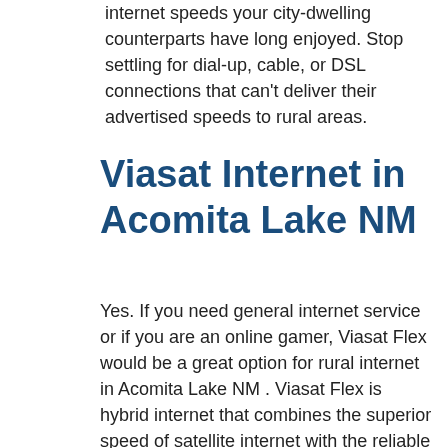internet speeds your city-dwelling counterparts have long enjoyed. Stop settling for dial-up, cable, or DSL connections that can't deliver their advertised speeds to rural areas.
Viasat Internet in Acomita Lake NM
Yes. If you need general internet service or if you are an online gamer, Viasat Flex would be a great option for rural internet in Acomita Lake NM . Viasat Flex is hybrid internet that combines the superior speed of satellite internet with the reliable low latency of DSL internet to support gaming, even first-person interactive role play! Viasat Flex also supports video conferencing. When you order Viasat Flex in Acomita Lake, the satellite internet and DSL internet systems are installed separately, and each has a modem. Utilizing Viasat's proprietary Flex technology, your internet stream switches seamlessly